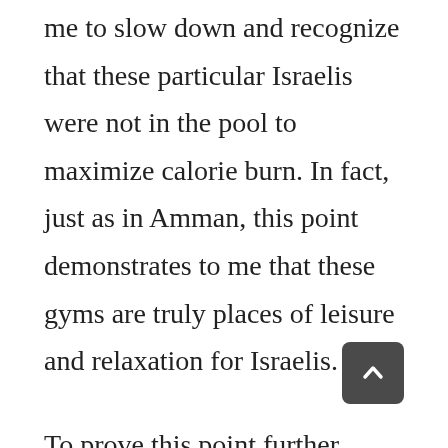me to slow down and recognize that these particular Israelis were not in the pool to maximize calorie burn. In fact, just as in Amman, this point demonstrates to me that these gyms are truly places of leisure and relaxation for Israelis.
To prove this point further, what gym in the United States has ice cream sundaes on the menu of their in-house (and might I add, quite excellent, with a 15% discount for members) restaurant? And to boot, this is not